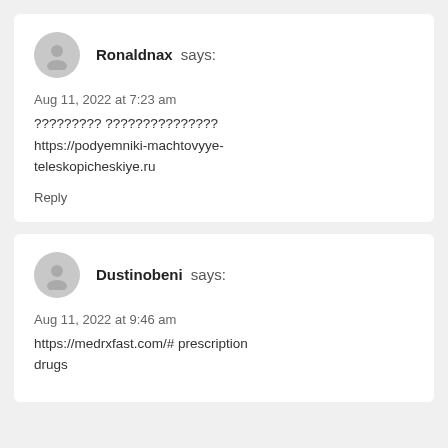Ronaldnax says:
Aug 11, 2022 at 7:23 am
????????? ??????????????? https://podyemniki-machtovyye-teleskopicheskiye.ru
Reply
Dustinobeni says:
Aug 11, 2022 at 9:46 am
https://medrxfast.com/# prescription drugs